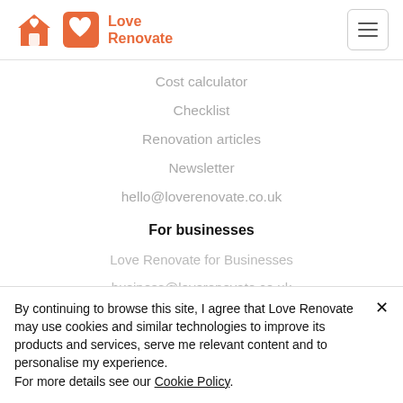Love Renovate
Cost calculator
Checklist
Renovation articles
Newsletter
hello@loverenovate.co.uk
For businesses
Love Renovate for Businesses
business@loverenovate.co.uk
Company
By continuing to browse this site, I agree that Love Renovate may use cookies and similar technologies to improve its products and services, serve me relevant content and to personalise my experience. For more details see our Cookie Policy.